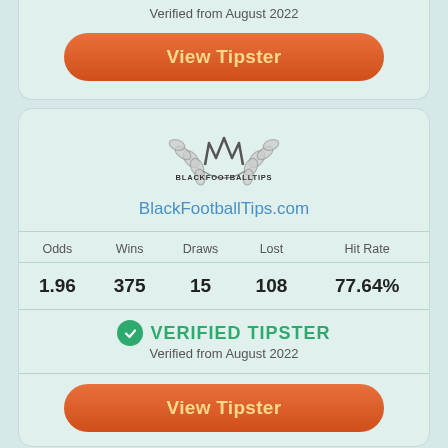Verified from August 2022
View Tipster
[Figure (logo): BlackFootballTips logo with laurel wreath and text BLACKFOOTBALLTIPS]
BlackFootballTips.com
| Odds | Wins | Draws | Lost | Hit Rate |
| --- | --- | --- | --- | --- |
| 1.96 | 375 | 15 | 108 | 77.64% |
VERIFIED TIPSTER
Verified from August 2022
View Tipster